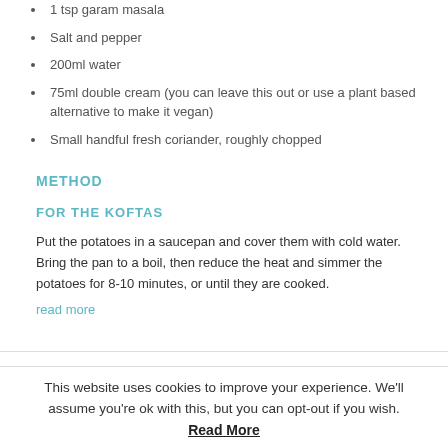1 tsp garam masala
Salt and pepper
200ml water
75ml double cream (you can leave this out or use a plant based alternative to make it vegan)
Small handful fresh coriander, roughly chopped
METHOD
FOR THE KOFTAS
Put the potatoes in a saucepan and cover them with cold water. Bring the pan to a boil, then reduce the heat and simmer the potatoes for 8-10 minutes, or until they are cooked.
read more
This website uses cookies to improve your experience. We'll assume you're ok with this, but you can opt-out if you wish.
Read More